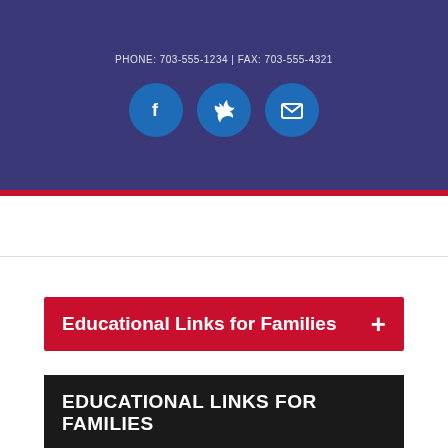[Figure (infographic): Dark navy/purple header banner with social media icon circles (Facebook, Twitter, Email) in blue]
Educational Links for Families
EDUCATIONAL LINKS FOR FAMILIES
Colonial Heights Middle School » Our School » Title I Program » Home-School Connection » Educational Links for Families